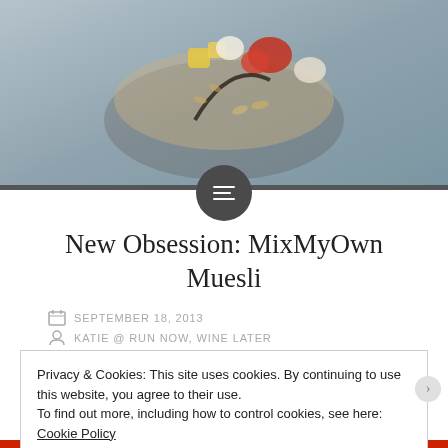[Figure (photo): Top portion of a food photo showing muesli/granola with fruit toppings in a bowl, on a gray marble surface. A dark circular menu button with hamburger icon overlays the bottom center.]
New Obsession: MixMyOwn Muesli
SEPTEMBER 18, 2013
KATIE @ RUN NOW, WINE LATER
8 COMMENTS
Privacy & Cookies: This site uses cookies. By continuing to use this website, you agree to their use.
To find out more, including how to control cookies, see here: Cookie Policy
Close and accept